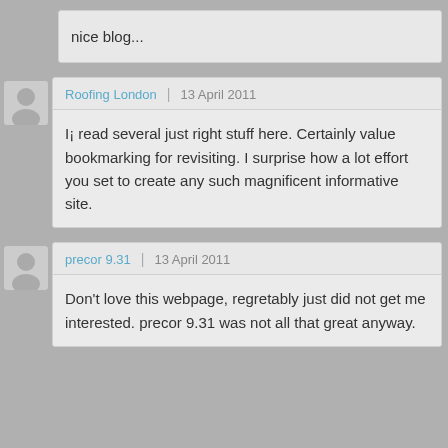nice blog...
Roofing London | 13 April 2011
I¡ read several just right stuff here. Certainly value bookmarking for revisiting. I surprise how a lot effort you set to create any such magnificent informative site.
precor 9.31 | 13 April 2011
Don't love this webpage, regretably just did not get me interested. precor 9.31 was not all that great anyway.